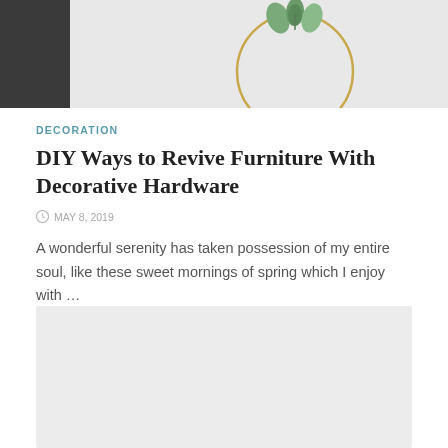[Figure (photo): Partial photo showing a decorative gold hoop/ring with a small plant on top, against a light background with a dark element on the left side.]
DECORATION
DIY Ways to Revive Furniture With Decorative Hardware
MAY 8, 2019
A wonderful serenity has taken possession of my entire soul, like these sweet mornings of spring which I enjoy with …
[Figure (photo): Second article image placeholder (light grey rectangle).]